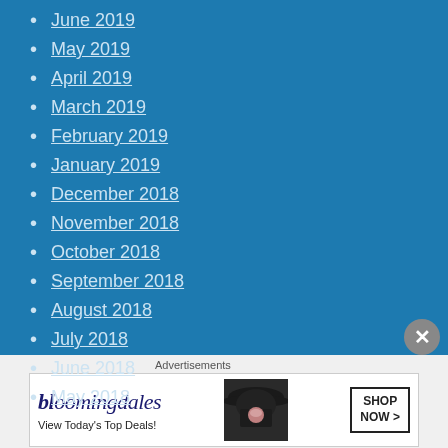June 2019
May 2019
April 2019
March 2019
February 2019
January 2019
December 2018
November 2018
October 2018
September 2018
August 2018
July 2018
June 2018
May 2018
Advertisements
[Figure (other): Bloomingdale's advertisement banner with woman in hat, text 'View Today's Top Deals!' and 'SHOP NOW >']